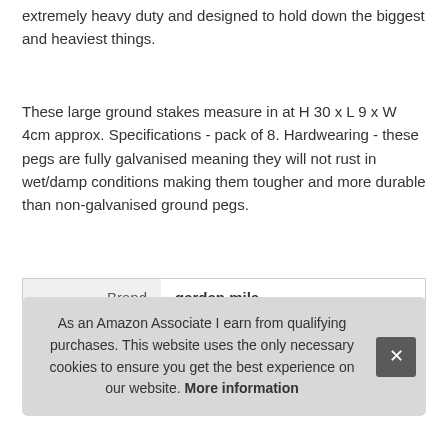extremely heavy duty and designed to hold down the biggest and heaviest things.
These large ground stakes measure in at H 30 x L 9 x W 4cm approx. Specifications - pack of 8. Hardwearing - these pegs are fully galvanised meaning they will not rust in wet/damp conditions making them tougher and more durable than non-galvanised ground pegs.
|  |  |
| --- | --- |
| Brand | garden mile |
| Manufacturer | Garden Mile |
As an Amazon Associate I earn from qualifying purchases. This website uses the only necessary cookies to ensure you get the best experience on our website. More information